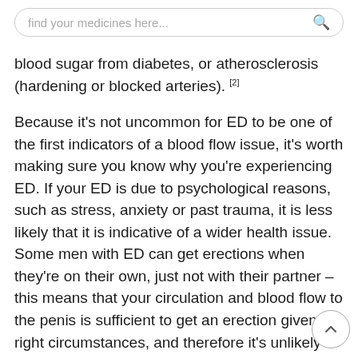find your medicines here...
blood sugar from diabetes, or atherosclerosis (hardening or blocked arteries). [2]
Because it's not uncommon for ED to be one of the first indicators of a blood flow issue, it's worth making sure you know why you're experiencing ED. If your ED is due to psychological reasons, such as stress, anxiety or past trauma, it is less likely that it is indicative of a wider health issue. Some men with ED can get erections when they're on their own, just not with their partner – this means that your circulation and blood flow to the penis is sufficient to get an erection given the right circumstances, and therefore it's unlikely to indicate a condition like heart disease.
For most men, however, ED is caused by a physical